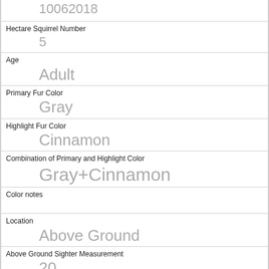| Field | Value |
| --- | --- |
|  | 10062018 |
| Hectare Squirrel Number | 5 |
| Age | Adult |
| Primary Fur Color | Gray |
| Highlight Fur Color | Cinnamon |
| Combination of Primary and Highlight Color | Gray+Cinnamon |
| Color notes |  |
| Location | Above Ground |
| Above Ground Sighter Measurement | 20 |
| Specific Location |  |
| Running | 0 |